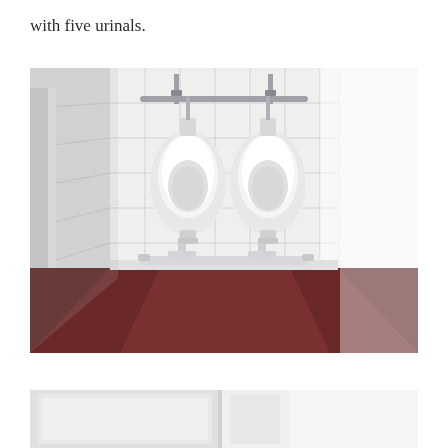with five urinals.
[Figure (photo): Interior view of a bathroom showing two white ceramic urinals mounted on white tiled walls with metal flush pipes, PVC plumbing at the base, and a dark reddish-brown floor. The room appears small with white walls on left and right sides.]
[Figure (photo): Partial view of a white interior room, appears to be a continuation of the bathroom scene, showing white walls and possibly cubicle panels.]